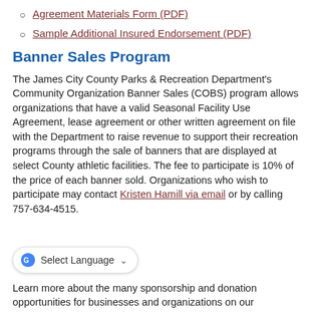Agreement Materials Form (PDF)
Sample Additional Insured Endorsement (PDF)
Banner Sales Program
The James City County Parks & Recreation Department's Community Organization Banner Sales (COBS) program allows organizations that have a valid Seasonal Facility Use Agreement, lease agreement or other written agreement on file with the Department to raise revenue to support their recreation programs through the sale of banners that are displayed at select County athletic facilities. The fee to participate is 10% of the price of each banner sold. Organizations who wish to participate may contact Kristen Hamill via email or by calling 757-634-4515.
Learn more about the many sponsorship and donation opportunities for businesses and organizations on our